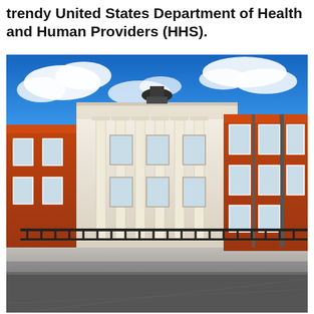trendy United States Department of Health and Human Providers (HHS).
[Figure (photo): Exterior photograph of a large red-brick and white-stone classical government building with tall white columns in the centre section, red brick wings with white-framed windows, a black domed cupola at the top centre, iron railings along the pavement, and a blue sky with white clouds behind the building.]